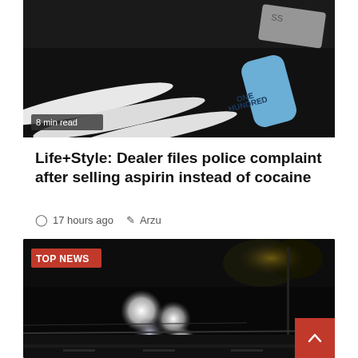[Figure (photo): Close-up photo of lines of white powder on a dark surface with a blue bottle labeled 'ONE HUNDRED' and a credit card. Badge reads '8 min read'.]
Life+Style: Dealer files police complaint after selling aspirin instead of cocaine
17 hours ago  Arzu
[Figure (photo): Night scene photo showing bright headlights of a vehicle on a dark road with street infrastructure. Badge reads 'TOP NEWS'.]